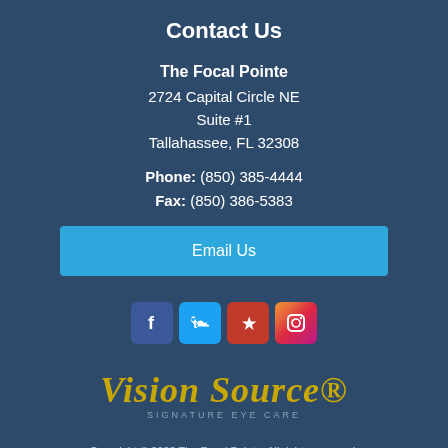Contact Us
The Focal Pointe
2724 Capital Circle NE
Suite #1
Tallahassee, FL 32308
Phone: (850) 385-4444
Fax: (850) 386-5383
Email Us
[Figure (infographic): Social media icons row: Facebook (blue), Twitter (light blue), Yelp (red), Instagram (gradient purple-pink-orange)]
[Figure (logo): Vision Source Signature Eye Care logo. Cursive yellow/gold 'Vision Source' text with 'SIGNATURE EYE CARE' subtitle in grey]
Copyright © 2022 The Focal Pointe. All rights reserved.
Privacy Policy  /  Website by Avelient.